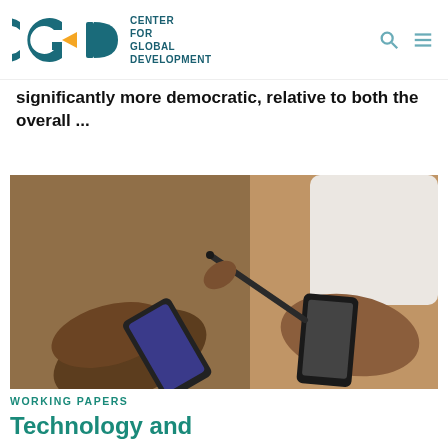CGD — Center for Global Development
significantly more democratic, relative to both the overall ...
[Figure (photo): Two people's hands holding smartphones, one pointing a stylus at the other's phone screen.]
WORKING PAPERS
Technology and